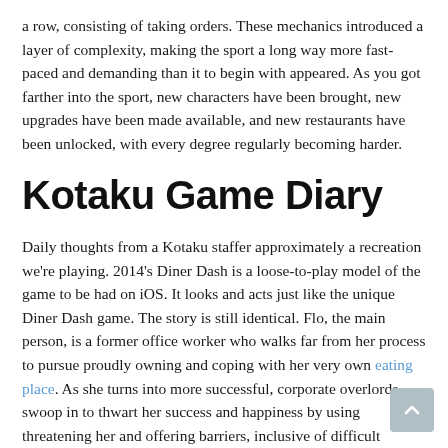a row, consisting of taking orders. These mechanics introduced a layer of complexity, making the sport a long way more fast-paced and demanding than it to begin with appeared. As you got farther into the sport, new characters have been brought, new upgrades have been made available, and new restaurants have been unlocked, with every degree regularly becoming harder.
Kotaku Game Diary
Daily thoughts from a Kotaku staffer approximately a recreation we're playing. 2014's Diner Dash is a loose-to-play model of the game to be had on iOS. It looks and acts just like the unique Diner Dash game. The story is still identical. Flo, the main person, is a former office worker who walks far from her process to pursue proudly owning and coping with her very own eating place. As she turns into more successful, corporate overlords swoop in to thwart her success and happiness by using threatening her and offering barriers, inclusive of difficult clients, which she